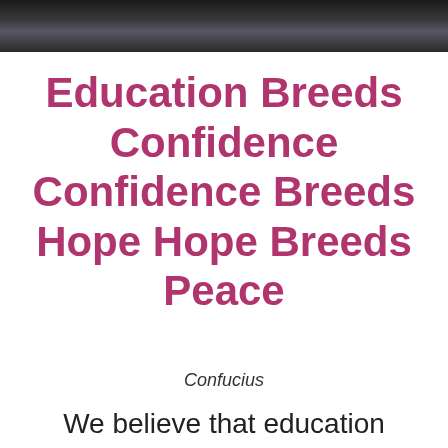[Figure (photo): A dark photograph strip at the top of the page showing people in a room, appears to be an educational or office setting.]
Education Breeds Confidence Confidence Breeds Hope Hope Breeds Peace
Confucius
We believe that education